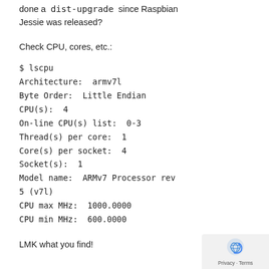done a `dist-upgrade` since Raspbian Jessie was released?
Check CPU, cores, etc.:
$ lscpu
Architecture:  armv7l
Byte Order:  Little Endian
CPU(s):  4
On-line CPU(s) list:  0-3
Thread(s) per core:  1
Core(s) per socket:  4
Socket(s):  1
Model name:  ARMv7 Processor rev 5 (v7l)
CPU max MHz:  1000.0000
CPU min MHz:  600.0000
LMK what you find!